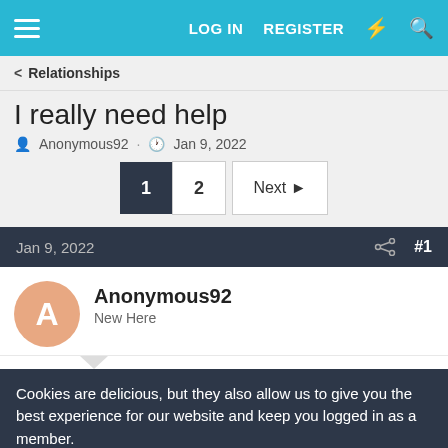LOG IN  REGISTER
< Relationships
I really need help
Anonymous92 · Jan 9, 2022
1  2  Next
Jan 9, 2022  #1
Anonymous92
New Here
Cookies are delicious, but they also allow us to give you the best experience for our website and keep you logged in as a member.
✓ Accept  Learn more...